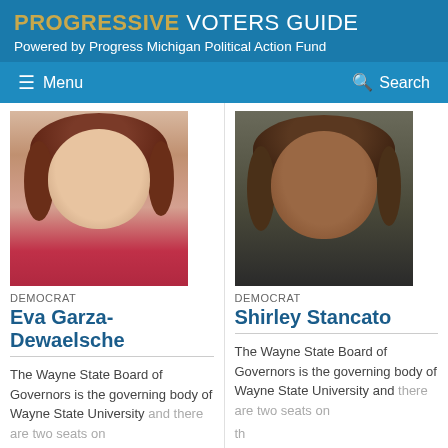PROGRESSIVE VOTERS GUIDE
Powered by Progress Michigan Political Action Fund
Menu  Search
[Figure (photo): Headshot of Eva Garza-Dewaelsche, a woman with reddish-brown hair wearing a pink top]
DEMOCRAT
Eva Garza-Dewaelsche
The Wayne State Board of Governors is the governing body of Wayne State University and there are two seats on th...
Read More
[Figure (photo): Headshot of Shirley Stancato, a woman with a brown bob hairstyle wearing a dark suit]
DEMOCRAT
Shirley Stancato
The Wayne State Board of Governors is the governing body of Wayne State University and there are two seats on th...
Read More